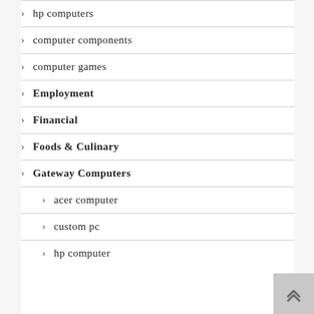hp computers
computer components
computer games
Employment
Financial
Foods & Culinary
Gateway Computers
acer computer
custom pc
hp computer